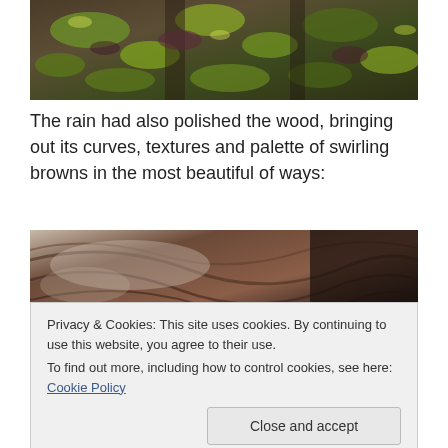[Figure (photo): Close-up photograph of moss and lichen growing on bark or rock, showing green, yellow-green, and dark brown textures]
The rain had also polished the wood, bringing out its curves, textures and palette of swirling browns in the most beautiful of ways:
[Figure (photo): Close-up photograph of wet wood grain showing swirling brown and dark textures]
Privacy & Cookies: This site uses cookies. By continuing to use this website, you agree to their use.
To find out more, including how to control cookies, see here: Cookie Policy
[Figure (photo): Partial view of a photograph at the bottom of the page, dark tones]